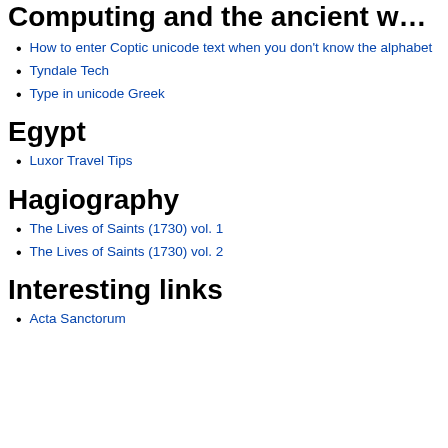Computing and the ancient world
How to enter Coptic unicode text when you don't know the alphabet
Tyndale Tech
Type in unicode Greek
Egypt
Luxor Travel Tips
Hagiography
The Lives of Saints (1730) vol. 1
The Lives of Saints (1730) vol. 2
Interesting links
Acta Sanctorum